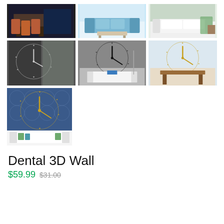[Figure (photo): Grid of 7 product photos showing dental 3D wall clocks and room settings with sofas and furniture. Row 1: office/dining room, blue sofa with coffee table, white sofa with green blanket. Row 2: silver dental wall clock on gray wall, black dental wall clock in living room, gold dental wall clock above wooden table. Row 3: gold dental wall clock above white sofa on blue patterned background.]
Dental 3D Wall
$59.99  $31.00